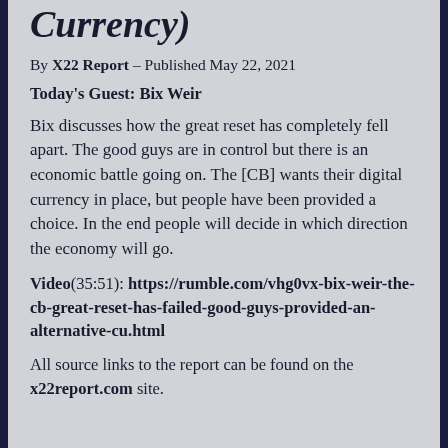Currency)
By X22 Report – Published May 22, 2021
Today's Guest: Bix Weir
Bix discusses how the great reset has completely fell apart. The good guys are in control but there is an economic battle going on. The [CB] wants their digital currency in place, but people have been provided a choice. In the end people will decide in which direction the economy will go.
Video(35:51): https://rumble.com/vhg0vx-bix-weir-the-cb-great-reset-has-failed-good-guys-provided-an-alternative-cu.html
All source links to the report can be found on the x22report.com site.